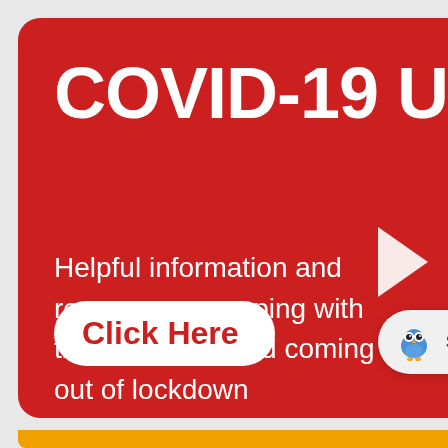COVID-19 Upd
Helpful information and resources on coping with the pandemic and coming out of lockdown
[Figure (screenshot): Red banner with COVID-19 update information and a chatbot button overlay showing a cartoon owl icon and 'Start conversation' text]
Click Here
Start conversation